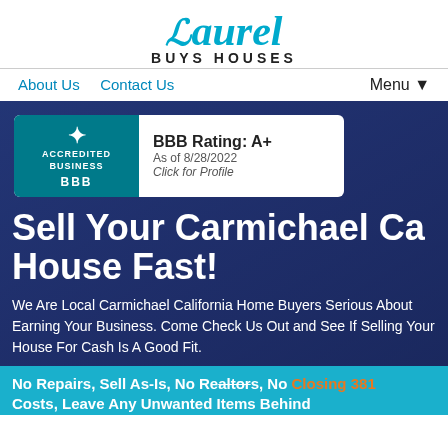[Figure (logo): Laurel Buys Houses logo with teal script text and tagline]
About Us  Contact Us  Menu ▼
[Figure (photo): Hero section with house and trees background, dark blue overlay, BBB Accredited Business badge showing BBB Rating: A+ as of 8/28/2022, Click for Profile]
Sell Your Carmichael Ca House Fast!
We Are Local Carmichael California Home Buyers Serious About Earning Your Business. Come Check Us Out and See If Selling Your House For Cash Is A Good Fit.
No Repairs, Sell As-Is, No Realtors, No Closing Costs, Leave Any Unwanted Items Behind